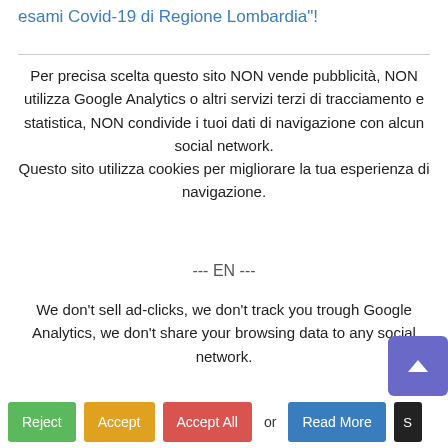esami Covid-19 di Regione Lombardia"!
Per precisa scelta questo sito NON vende pubblicità, NON utilizza Google Analytics o altri servizi terzi di tracciamento e statistica, NON condivide i tuoi dati di navigazione con alcun social network.
Questo sito utilizza cookies per migliorare la tua esperienza di navigazione.
--- EN ---
We don't sell ad-clicks, we don't track you trough Google Analytics, we don't share your browsing data to any social network.
Anyway, this website uses cookies to improve your exp
Reject  Accept  Accept All  or  Read More  S